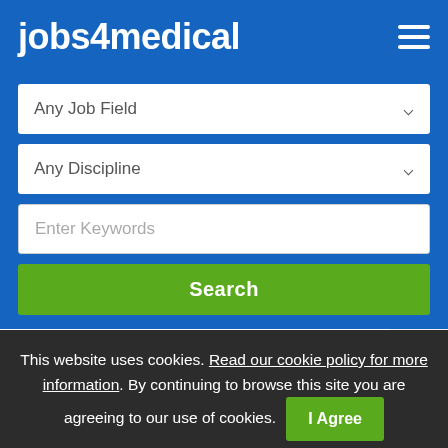jobs4medical
Any Job Field
Any Discipline
Enter Keywords
Search
Home > Dispensing Optician Job, Bromley
This website uses cookies. Read our cookie policy for more information. By continuing to browse this site you are agreeing to our use of cookies. I Agree